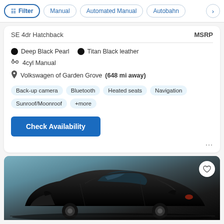Filter | Manual | Automated Manual | Autobahn
SE 4dr Hatchback	MSRP
Deep Black Pearl  •  Titan Black leather
4cyl Manual
Volkswagen of Garden Grove (648 mi away)
Back-up camera  Bluetooth  Heated seats  Navigation  Sunroof/Moonroof  +more
Check Availability
[Figure (photo): Black car (sedan/hatchback) photographed inside a dealership showroom, viewed from a front-three-quarter angle]